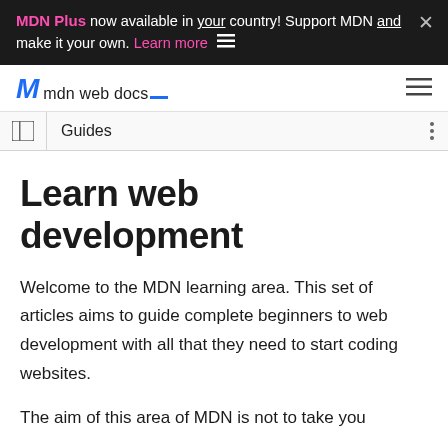MDN Plus now available in your country! Support MDN and make it your own. Learn more
mdn web docs
Guides
Learn web development
Welcome to the MDN learning area. This set of articles aims to guide complete beginners to web development with all that they need to start coding websites.
The aim of this area of MDN is not to take you